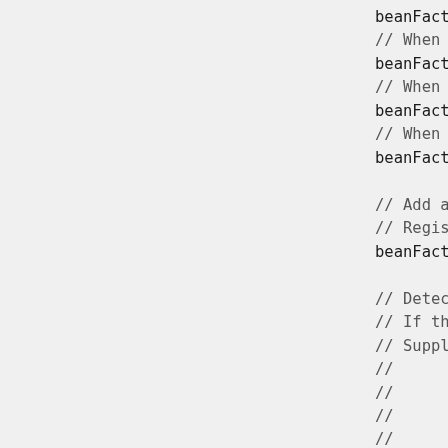beanFactory.registerResolvableDep
// When the injection type is Res
beanFactory.registerResolvableDep
// When the injection type is App
beanFactory.registerResolvableDep
// When the injected type is Appl
beanFactory.registerResolvableDep

// Add a bean post processor, App
// Register early post-processor
beanFactory.addBeanPostProcessor(

// Detect a LoadTimeWeaver and pr
// If there is a bean definition
// Supplement: 1. Add support for
//        Using a special compil
//        The section is woven b
//      2. aspectJ provides two w
//        (1) Through a special
//        (2) Class load time we
if (beanFactory.containsBean(LOAD
    beanFactory.addBeanPostPr